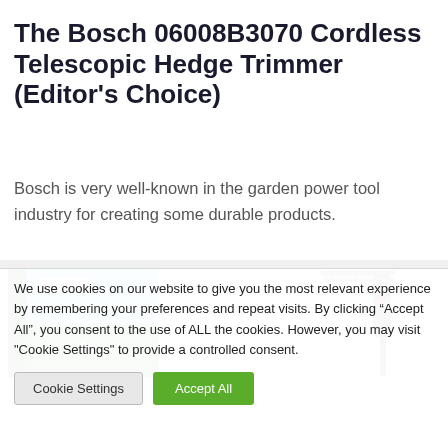The Bosch 06008B3070 Cordless Telescopic Hedge Trimmer (Editor's Choice)
Bosch is very well-known in the garden power tool industry for creating some durable products.
[Figure (photo): Two product images: left shows the Bosch UniversalHedgePole product box with green and blue packaging; right shows the green and black cordless telescopic hedge trimmer tool.]
We use cookies on our website to give you the most relevant experience by remembering your preferences and repeat visits. By clicking “Accept All”, you consent to the use of ALL the cookies. However, you may visit "Cookie Settings" to provide a controlled consent.